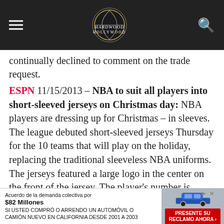Hardwood and Hollywood
continually declined to comment on the trade request.
ESPN 11/15/2013 – NBA to suit all players into short-sleeved jerseys on Christmas day: NBA players are dressing up for Christmas – in sleeves. The league debuted short-sleeved jerseys Thursday for the 10 teams that will play on the holiday, replacing the traditional sleeveless NBA uniforms. The jerseys featured a large logo in the center on the front of the jersey. The player's number is featured on the left sleeve and on the back. Associated Press
Melo: I've Got to Bleed to Get a Call from Refs (via http://t.co/i9Xym2iUR8)
[Figure (other): Advertisement banner: Acuerdo de la demanda colectiva por $82 Millones. SI USTED COMPRÓ O ARRENDO UN AUTOMÓVIL O CAMIÓN NUEVO EN CALIFORNIA DESDE 2001 A 2003. PRESENTE SU RECLAMO AHORA button with car image.]